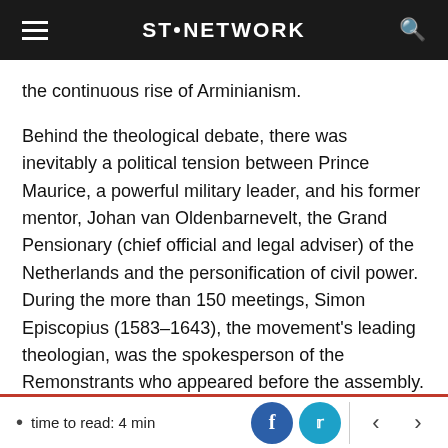ST. NETWORK
the continuous rise of Arminianism.
Behind the theological debate, there was inevitably a political tension between Prince Maurice, a powerful military leader, and his former mentor, Johan van Oldenbarnevelt, the Grand Pensionary (chief official and legal adviser) of the Netherlands and the personification of civil power. During the more than 150 meetings, Simon Episcopius (1583–1643), the movement's leading theologian, was the spokesperson of the Remonstrants who appeared before the assembly.
time to read: 4 min